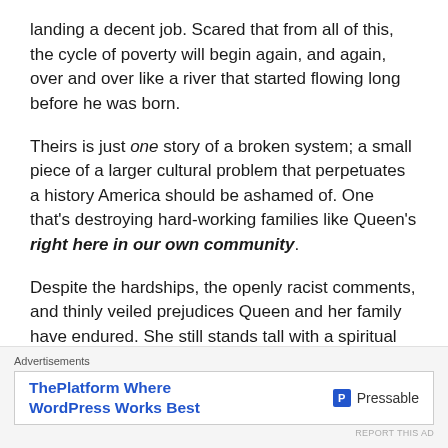landing a decent job. Scared that from all of this, the cycle of poverty will begin again, and again, over and over like a river that started flowing long before he was born.
Theirs is just one story of a broken system; a small piece of a larger cultural problem that perpetuates a history America should be ashamed of. One that's destroying hard-working families like Queen's right here in our own community.
Despite the hardships, the openly racist comments, and thinly veiled prejudices Queen and her family have endured. She still stands tall with a spiritual height that surpasses what life has handed her and
Advertisements
[Figure (other): Advertisement banner for Pressable: 'ThePlatform Where WordPress Works Best' with Pressable logo]